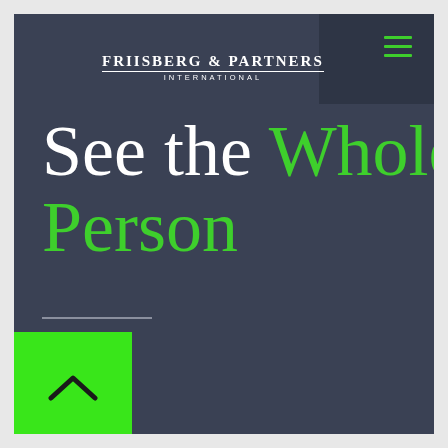[Figure (logo): Friisberg & Partners International logo with crescent moon icon and company name]
See the Whole Person
[Figure (other): Green block with upward chevron arrow at bottom-left corner]